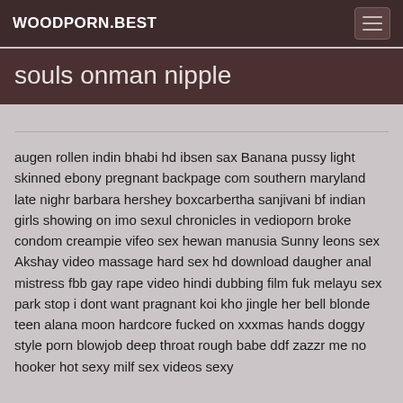WOODPORN.BEST
souls onman nipple
augen rollen indin bhabi hd ibsen sax Banana pussy light skinned ebony pregnant backpage com southern maryland late nighr barbara hershey boxcarbertha sanjivani bf indian girls showing on imo sexul chronicles in vedioporn broke condom creampie vifeo sex hewan manusia Sunny leons sex Akshay video massage hard sex hd download daugher anal mistress fbb gay rape video hindi dubbing film fuk melayu sex park stop i dont want pragnant koi kho jingle her bell blonde teen alana moon hardcore fucked on xxxmas hands doggy style porn blowjob deep throat rough babe ddf zazzr me no hooker hot sexy milf sex videos sexy